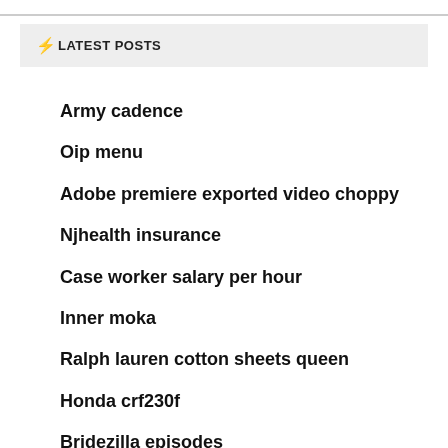⚡LATEST POSTS
Army cadence
Oip menu
Adobe premiere exported video choppy
Njhealth insurance
Case worker salary per hour
Inner moka
Ralph lauren cotton sheets queen
Honda crf230f
Bridezilla episodes
Levelheaded definition